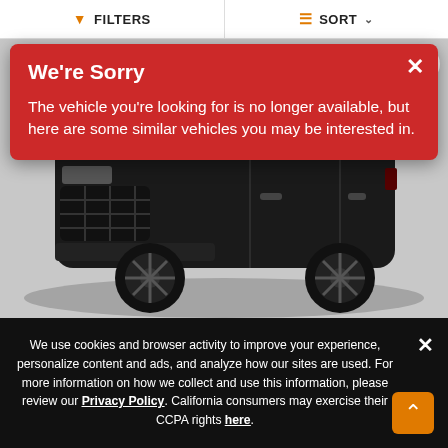FILTERS   SORT
We're Sorry
The vehicle you're looking for is no longer available, but here are some similar vehicles you may be interested in.
[Figure (photo): A black Range Rover SUV photographed against a light grey wall, front three-quarter view. Badge count shows 41 photos.]
We use cookies and browser activity to improve your experience, personalize content and ads, and analyze how our sites are used. For more information on how we collect and use this information, please review our Privacy Policy. California consumers may exercise their CCPA rights here.